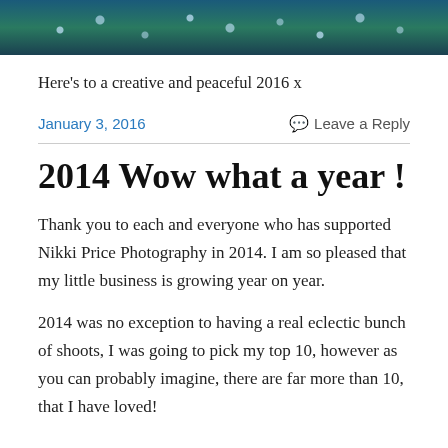[Figure (photo): Dark photo strip showing bokeh lights (Christmas/holiday lights) on a dark background, partially visible at top of page.]
Here's to a creative and peaceful 2016 x
January 3, 2016
Leave a Reply
2014 Wow what a year !
Thank you to each and everyone who has supported Nikki Price Photography in 2014. I am so pleased that my little business is growing year on year.
2014 was no exception to having a real eclectic bunch of shoots, I was going to pick my top 10, however as you can probably imagine, there are far more than 10, that I have loved!